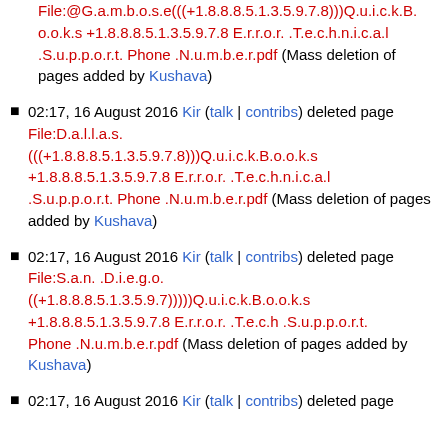File:@G.a.m.b.o.s.e(((+1.8.8.8.5.1.3.5.9.7.8)))Q.u.i.c.k.Books +1.8.8.8.5.1.3.5.9.7.8 E.r.r.o.r. .T.e.c.h.n.i.c.a.l .S.u.p.p.o.r.t. Phone .N.u.m.b.e.r.pdf (Mass deletion of pages added by Kushava)
02:17, 16 August 2016 Kir (talk | contribs) deleted page File:D.a.l.l.a.s. (((+1.8.8.8.5.1.3.5.9.7.8)))Q.u.i.c.k.B.o.o.k.s +1.8.8.8.5.1.3.5.9.7.8 E.r.r.o.r. .T.e.c.h.n.i.c.a.l .S.u.p.p.o.r.t. Phone .N.u.m.b.e.r.pdf (Mass deletion of pages added by Kushava)
02:17, 16 August 2016 Kir (talk | contribs) deleted page File:S.a.n. .D.i.e.g.o. ((+1.8.8.8.5.1.3.5.9.7)))))Q.u.i.c.k.B.o.o.k.s +1.8.8.8.5.1.3.5.9.7.8 E.r.r.o.r. .T.e.c.h .S.u.p.p.o.r.t. Phone .N.u.m.b.e.r.pdf (Mass deletion of pages added by Kushava)
02:17, 16 August 2016 Kir (talk | contribs) deleted page